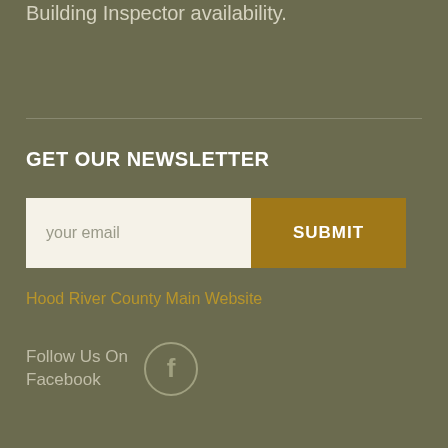Building Inspector availability.
GET OUR NEWSLETTER
your email
SUBMIT
Hood River County Main Website
Follow Us On Facebook